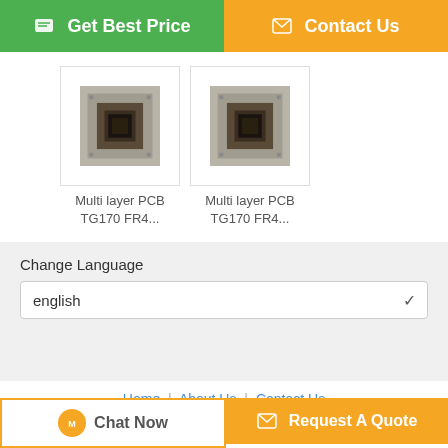[Figure (screenshot): Get Best Price button (green) and Contact Us button (orange) at the top]
[Figure (photo): Two product thumbnails: Multi layer PCB TG170 FR4... shown twice]
Multi layer PCB TG170 FR4...
Multi layer PCB TG170 FR4...
Change Language
english
Home | About Us | Contact Us
Desktop View
China 6 layer PCB Supplier. Copyright © 2016 - 2022 hascendpcb.com. All rights reserved. Developed by ECER
[Figure (screenshot): Chat Now button and Request A Quote button at the bottom]